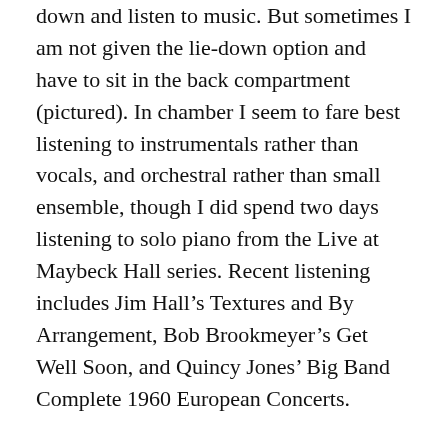down and listen to music. But sometimes I am not given the lie-down option and have to sit in the back compartment (pictured). In chamber I seem to fare best listening to instrumentals rather than vocals, and orchestral rather than small ensemble, though I did spend two days listening to solo piano from the Live at Maybeck Hall series. Recent listening includes Jim Hall's Textures and By Arrangement, Bob Brookmeyer's Get Well Soon, and Quincy Jones' Big Band Complete 1960 European Concerts.
Hyperbaric oxygen therapy works by “force-feeding” pure oxygen to the bloodstream, tissues and cells. Treatments make me feel like DiverDave (do you remember Diver Dan on